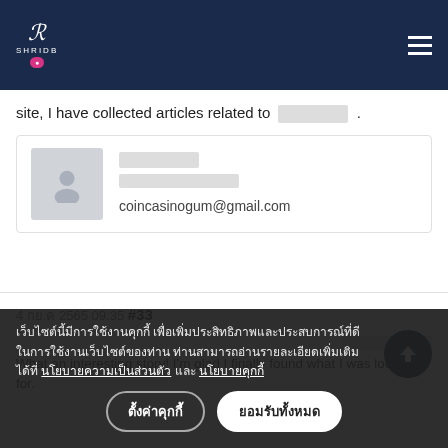SHRIDB [logo with menu icon]
site, I have collected articles related to [Thai text] .
[Figure (other): User profile card with placeholder avatar, Thai name, Thai role title, and email coincasinogum@gmail.com]
4 [Thai month] 2565 09:35 #33
[Thai author name]
What an interesting story! I'm glad I finally found what I was looking for.
เว็บไซต์นี้มีการใช้งานคุกกี้ เพื่อเพิ่มประสิทธิภาพและประสบการณ์ที่ดีในการใช้งานเว็บไซต์ของท่าน ท่านสามารถอ่านรายละเอียดเพิ่มเติมได้ที่ นโยบายความเป็นส่วนตัว และ นโยบายคุกกี้
ตั้งค่าคุกกี้    ยอมรับทั้งหมด